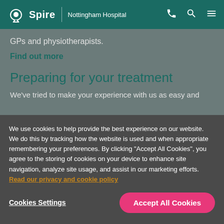Spire | Nottingham Hospital
GPs and physiotherapists.
Find out more
Preparing for your treatment
We've tried to make your experience with us as easy and
We use cookies to help provide the best experience on our website. We do this by tracking how the website is used and when appropriate remembering your preferences. By clicking "Accept All Cookies", you agree to the storing of cookies on your device to enhance site navigation, analyze site usage, and assist in our marketing efforts. Read our privacy and cookie policy
Cookies Settings
Accept All Cookies